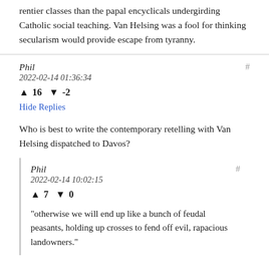rentier classes than the papal encyclicals undergirding Catholic social teaching. Van Helsing was a fool for thinking secularism would provide escape from tyranny.
Phil
2022-02-14 01:36:34
▲ 16 ▼ -2
Hide Replies
Who is best to write the contemporary retelling with Van Helsing dispatched to Davos?
Phil
2022-02-14 10:02:15
▲ 7 ▼ 0
"otherwise we will end up like a bunch of feudal peasants, holding up crosses to fend off evil, rapacious landowners."